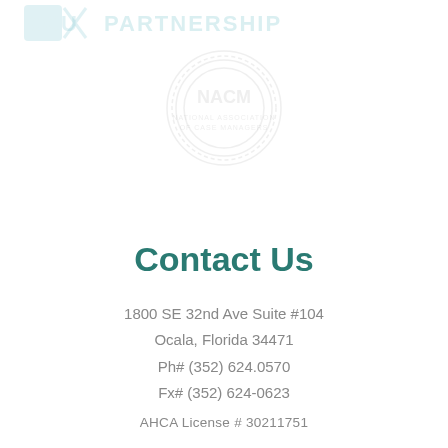[Figure (logo): OCU / organization logo with text 'PARTNERSHIP' in light blue/teal watermark style at top of page]
[Figure (logo): NACM circular seal/logo watermark in light gray, centered]
Contact Us
1800 SE 32nd Ave Suite #104
Ocala, Florida 34471
Ph# (352) 624.0570
Fx# (352) 624-0623
AHCA License # 30211751